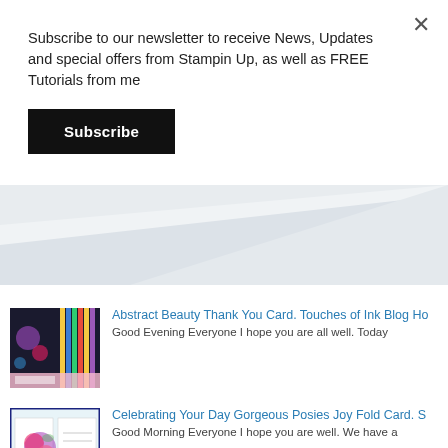Subscribe to our newsletter to receive News, Updates and special offers from Stampin Up, as well as FREE Tutorials from me
Subscribe
[Figure (photo): Light blue-grey decorative slanted background image, likely showing a pale fabric or paper surface at an angle]
Abstract Beauty Thank You Card. Touches of Ink Blog Ho
Good Evening Everyone I hope you are all well. Today
[Figure (photo): Thumbnail photo of an Abstract Beauty Thank You card, colorful with dark and patterned design elements]
Celebrating Your Day Gorgeous Posies Joy Fold Card. S
Good Morning Everyone I hope you are well. We have a
[Figure (photo): Thumbnail photo of a Celebrating Your Day Gorgeous Posies Joy Fold Card with floral design]